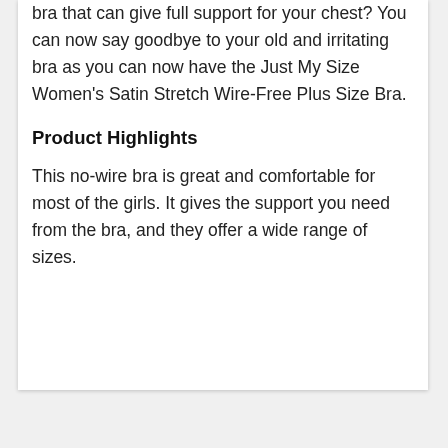bra that can give full support for your chest? You can now say goodbye to your old and irritating bra as you can now have the Just My Size Women's Satin Stretch Wire-Free Plus Size Bra.
Product Highlights
This no-wire bra is great and comfortable for most of the girls. It gives the support you need from the bra, and they offer a wide range of sizes.